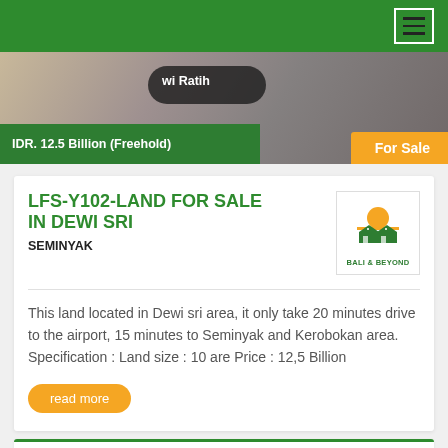Navigation bar with hamburger menu
[Figure (photo): Banner image of land/property with overlay text 'wi Ratih', green bar showing 'IDR. 12.5 Billion (Freehold)', and orange 'For Sale' tag]
LFS-Y102-LAND FOR SALE IN DEWI SRI
SEMINYAK
[Figure (logo): Bali & Beyond real estate logo with orange sun and green house icon]
This land located in Dewi sri area, it only take 20 minutes drive to the airport, 15 minutes to Seminyak and Kerobokan area. Specification : Land size : 10 are Price : 12,5 Billion
read more